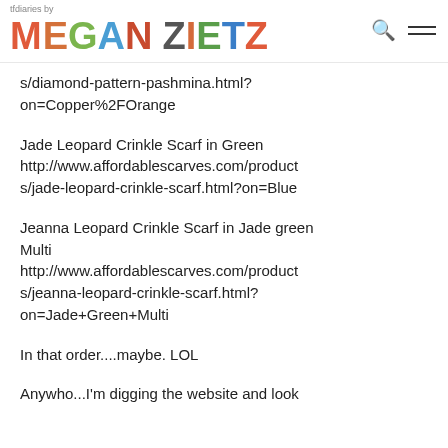tfdiaries by MEGAN ZIETZ
s/diamond-pattern-pashmina.html?on=Copper%2FOrange
Jade Leopard Crinkle Scarf in Green http://www.affordablescarves.com/products/jade-leopard-crinkle-scarf.html?on=Blue
Jeanna Leopard Crinkle Scarf in Jade green Multi http://www.affordablescarves.com/products/jeanna-leopard-crinkle-scarf.html?on=Jade+Green+Multi
In that order....maybe. LOL
Anywho...I'm digging the website and look